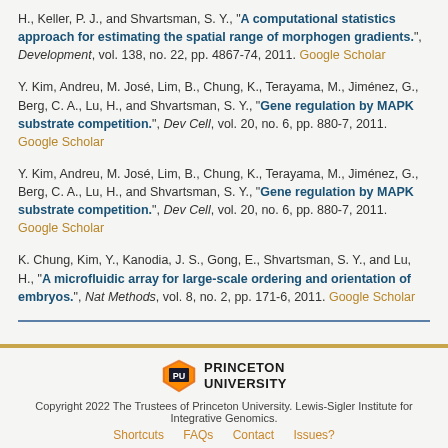H., Keller, P. J., and Shvartsman, S. Y., "A computational statistics approach for estimating the spatial range of morphogen gradients.", Development, vol. 138, no. 22, pp. 4867-74, 2011. Google Scholar
Y. Kim, Andreu, M. José, Lim, B., Chung, K., Terayama, M., Jiménez, G., Berg, C. A., Lu, H., and Shvartsman, S. Y., "Gene regulation by MAPK substrate competition.", Dev Cell, vol. 20, no. 6, pp. 880-7, 2011. Google Scholar
Y. Kim, Andreu, M. José, Lim, B., Chung, K., Terayama, M., Jiménez, G., Berg, C. A., Lu, H., and Shvartsman, S. Y., "Gene regulation by MAPK substrate competition.", Dev Cell, vol. 20, no. 6, pp. 880-7, 2011. Google Scholar
K. Chung, Kim, Y., Kanodia, J. S., Gong, E., Shvartsman, S. Y., and Lu, H., "A microfluidic array for large-scale ordering and orientation of embryos.", Nat Methods, vol. 8, no. 2, pp. 171-6, 2011. Google Scholar
Copyright 2022 The Trustees of Princeton University. Lewis-Sigler Institute for Integrative Genomics. Shortcuts FAQs Contact Issues?